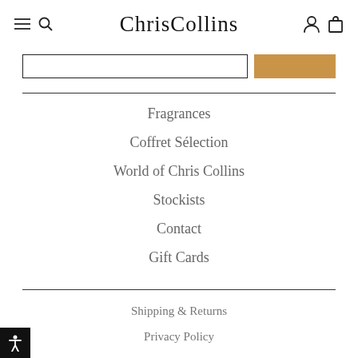ChrisCollins
[Figure (screenshot): Navigation header with hamburger menu icon, search icon, ChrisCollins brand name, user account icon, and shopping bag icon]
[Figure (screenshot): Search input bar with text field and tan/gold colored search button]
Fragrances
Coffret Sélection
World of Chris Collins
Stockists
Contact
Gift Cards
Shipping & Returns
Privacy Policy